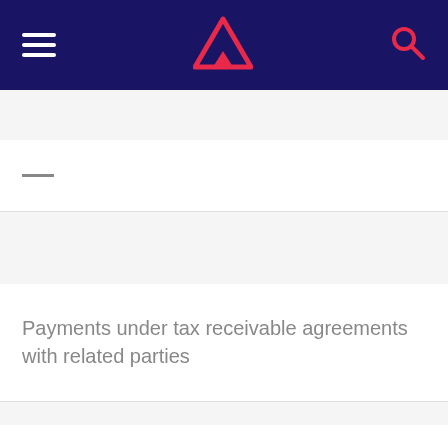Navigation bar with hamburger menu, triangle logo, and search icon
—
Payments under tax receivable agreements with related parties